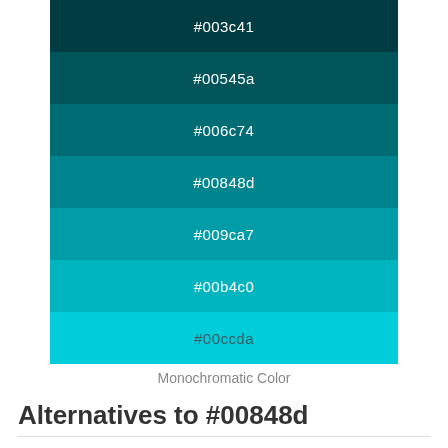[Figure (infographic): Monochromatic color palette swatches for #00848d showing 7 color variations from darkest (#003c41) to lightest (#00ccda), each labeled with its hex code in white text on the corresponding background color.]
Monochromatic Color
Alternatives to #00848d